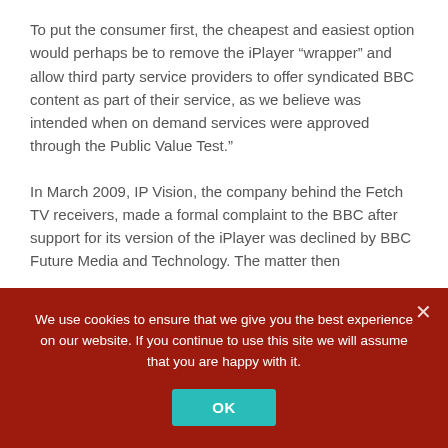To put the consumer first, the cheapest and easiest option would perhaps be to remove the iPlayer “wrapper” and allow third party service providers to offer syndicated BBC content as part of their service, as we believe was intended when on demand services were approved through the Public Value Test.”
In March 2009, IP Vision, the company behind the Fetch TV receivers, made a formal complaint to the BBC after support for its version of the iPlayer was declined by BBC Future Media and Technology. The matter then
We use cookies to ensure that we give you the best experience on our website. If you continue to use this site we will assume that you are happy with it.